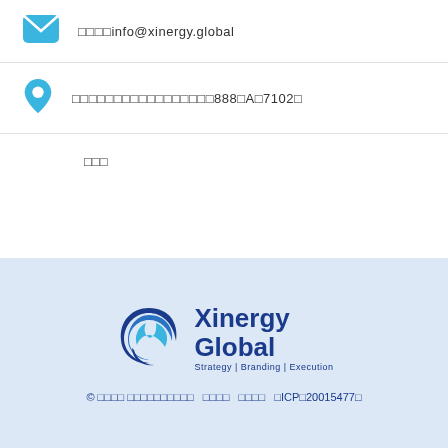□□□□info@xinergy.global
□□□□□□□□□□□□□□□□□888□A□7102□
□□□
[Figure (logo): Xinergy Global logo with blue swirl emblem and text 'Xinergy Global Strategy | Branding | Execution']
© □□□□ □□□□□□□□□□   □□□□   □□□□   □ICP□20015477□